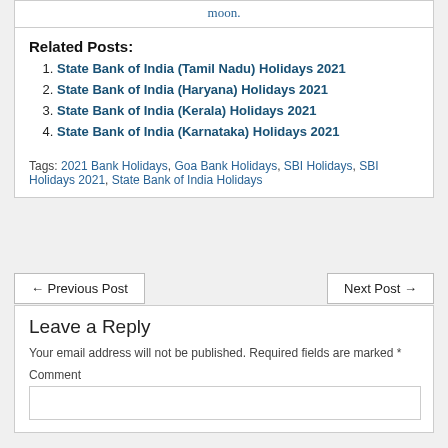moon.
Related Posts:
State Bank of India (Tamil Nadu) Holidays 2021
State Bank of India (Haryana) Holidays 2021
State Bank of India (Kerala) Holidays 2021
State Bank of India (Karnataka) Holidays 2021
Tags: 2021 Bank Holidays, Goa Bank Holidays, SBI Holidays, SBI Holidays 2021, State Bank of India Holidays
← Previous Post
Next Post →
Leave a Reply
Your email address will not be published. Required fields are marked *
Comment